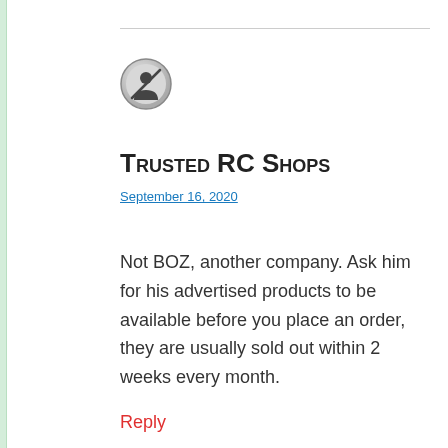[Figure (illustration): Circular avatar icon with a grey gradient border and a person silhouette inside, indicating a guest or anonymous user]
Trusted RC Shops
September 16, 2020
Not BOZ, another company. Ask him for his advertised products to be available before you place an order, they are usually sold out within 2 weeks every month.
Reply